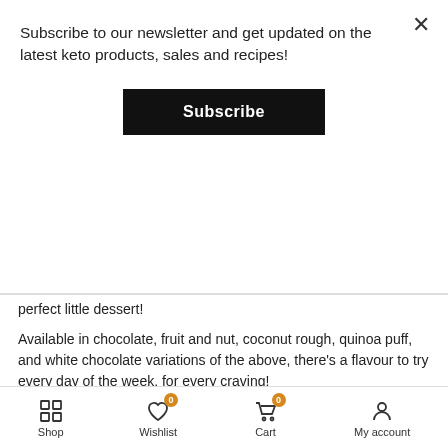Subscribe to our newsletter and get updated on the latest keto products, sales and recipes!
Subscribe
perfect little dessert!
Available in chocolate, fruit and nut, coconut rough, quinoa puff, and white chocolate variations of the above, there's a flavour to try every day of the week, for every craving!
★★★★★ 2 reviews
$4.25 – $7.99
CHOC COCONUT ROUGH BAR
Flavour :
WHITE CHOC COCONUT ROUGH BAR
Shop  Wishlist  Cart  My account